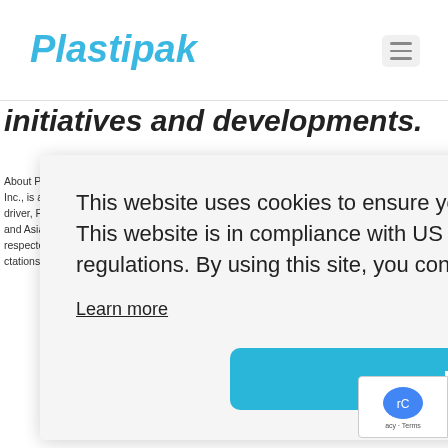Plastipak
initiatives and developments.
About Plastipak Plastipak Packaging, Inc., a wholly-owned subsidiary of Plastipak Holdings, Inc., is a global leader in the packaging and recycling industries. With innovation as a key driver, Plastipak operates over 60 sites in the United States, South America, Europe, Africa and Asia, with more than 6,000 employees. Its customers include some of the world's most respected and... industry, hol... ma... con... i™ Plas... al info... nts in this pre... ure res... Securities Litig... ctations on beli... events to var... ard- loo... ligation to pub...
This website uses cookies to ensure you get the best experience on our website. This website is in compliance with US privacy laws and European GDPR regulations. By using this site, you consent to the placement of these cookies.
Learn more
I agree